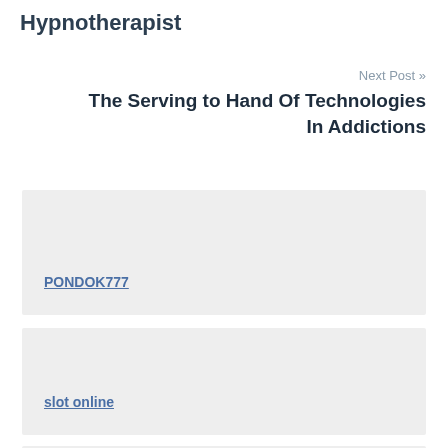Hypnotherapist
Next Post »
The Serving to Hand Of Technologies In Addictions
PONDOK777
slot online